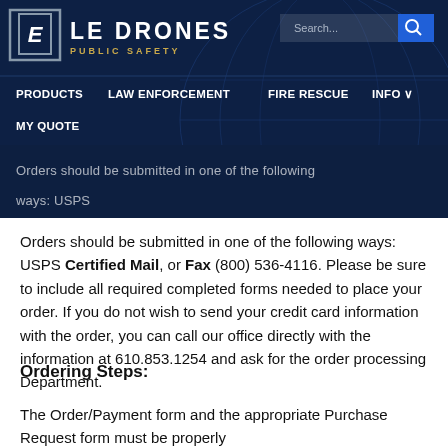[Figure (logo): LE Drones Public Safety logo with navigation bar showing PRODUCTS, LAW ENFORCEMENT, FIRE RESCUE, INFO, MY QUOTE links and a search box]
Orders should be submitted in one of the following ways: USPS Certified Mail, or Fax (800) 536-4116. Please be sure to include all required completed forms needed to place your order. If you do not wish to send your credit card information with the order, you can call our office directly with the information at 610.853.1254 and ask for the order processing Department.
Ordering Steps:
The Order/Payment form and the appropriate Purchase Request form must be properly